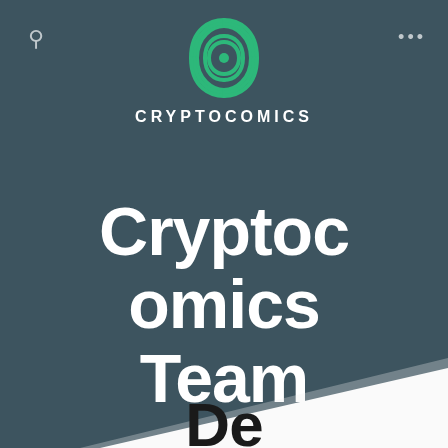[Figure (logo): CryptoComics logo: green double-spiral icon above the text CRYPTOCOMICS in white capital letters with wide letter-spacing]
Cryptocomics Team
[Figure (illustration): White angled shape (large white parallelogram/ramp) emerging from bottom of the dark teal background, with partial dark bold text visible at the very bottom edge]